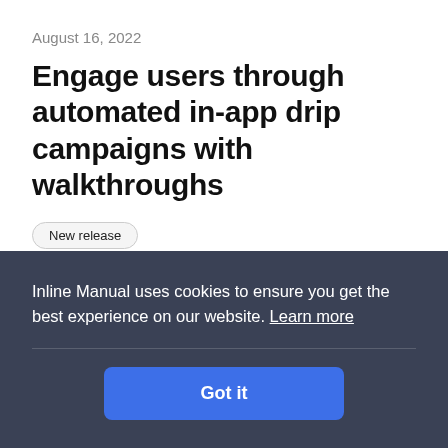August 16, 2022
Engage users through automated in-app drip campaigns with walkthroughs
New release
To increase product adoption and conversion from free trials to paid subscriptions, many businesses use a marketing strategy that
Inline Manual uses cookies to ensure you get the best experience on our website. Learn more
Got it